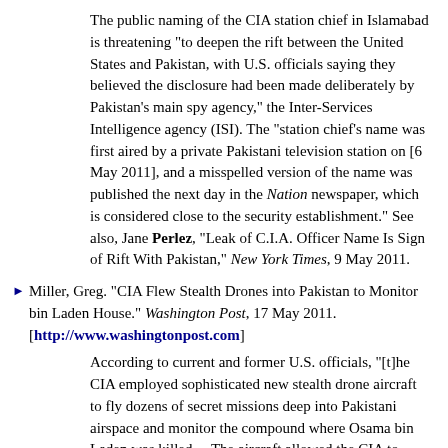The public naming of the CIA station chief in Islamabad is threatening "to deepen the rift between the United States and Pakistan, with U.S. officials saying they believed the disclosure had been made deliberately by Pakistan's main spy agency," the Inter-Services Intelligence agency (ISI). The "station chief's name was first aired by a private Pakistani television station on [6 May 2011], and a misspelled version of the name was published the next day in the Nation newspaper, which is considered close to the security establishment." See also, Jane Perlez, "Leak of C.I.A. Officer Name Is Sign of Rift With Pakistan," New York Times, 9 May 2011.
Miller, Greg. "CIA Flew Stealth Drones into Pakistan to Monitor bin Laden House." Washington Post, 17 May 2011. [http://www.washingtonpost.com]
According to current and former U.S. officials, "[t]he CIA employed sophisticated new stealth drone aircraft to fly dozens of secret missions deep into Pakistani airspace and monitor the compound where Osama bin Laden was killed.... The aircraft allowed the CIA to glide undetected beyond the boundaries that Pakistan